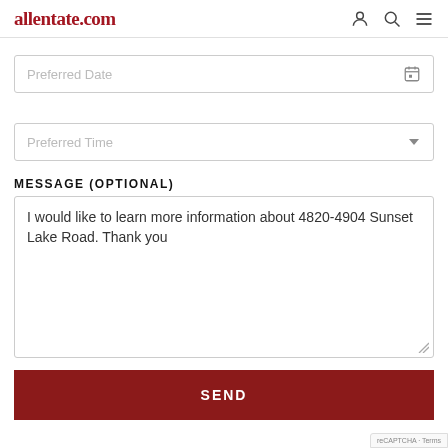allentate.com
Preferred Date
Preferred Time
MESSAGE (OPTIONAL)
I would like to learn more information about 4820-4904 Sunset Lake Road. Thank you
SEND